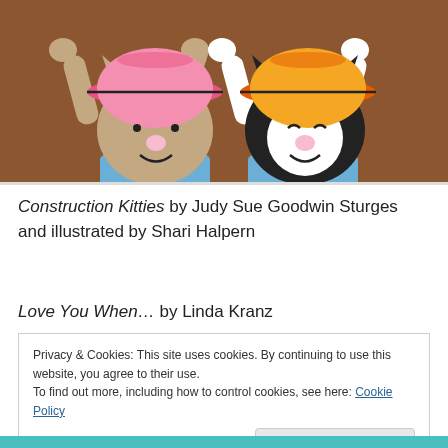[Figure (illustration): Two cartoon cats wearing construction hard hats — one wearing a pink hat (beige cat) and one wearing an orange hat (black and white cat), both holding their hats with raised arms, on a brown background with blue overalls visible at bottom.]
Construction Kitties by Judy Sue Goodwin Sturges and illustrated by Shari Halpern
Love You When… by Linda Kranz
Privacy & Cookies: This site uses cookies. By continuing to use this website, you agree to their use.
To find out more, including how to control cookies, see here: Cookie Policy